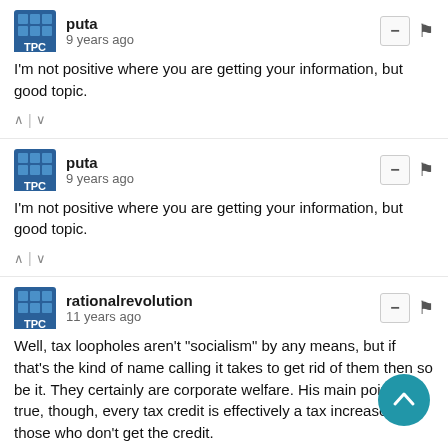puta
9 years ago
I'm not positive where you are getting your information, but good topic.
puta
9 years ago
I'm not positive where you are getting your information, but good topic.
rationalrevolution
11 years ago
Well, tax loopholes aren't "socialism" by any means, but if that's the kind of name calling it takes to get rid of them then so be it. They certainly are corporate welfare. His main point is true, though, every tax credit is effectively a tax increase on those who don't get the credit.
From a pure "free market" ideology perspective tax credits/loopholes/expenditures, whatever, and the single most